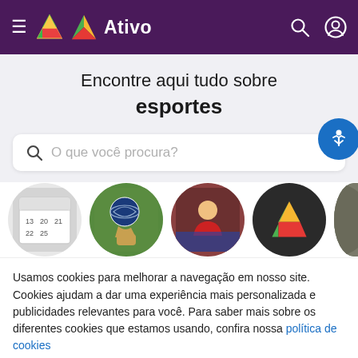≡ Ativo [logo] 🔍 👤
Encontre aqui tudo sobre esportes
[Figure (screenshot): Search bar with placeholder text 'O que você procura?' and a blue accessibility button]
[Figure (photo): Row of circular images: calendar, hand holding globe/ball, person in red shirt, Ativo logo on dark background, partially visible fifth circle]
Usamos cookies para melhorar a navegação em nosso site. Cookies ajudam a dar uma experiência mais personalizada e publicidades relevantes para você. Para saber mais sobre os diferentes cookies que estamos usando, confira nossa política de cookies
Aceitar
Recusar